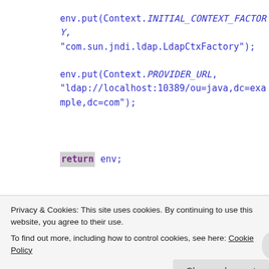env.put(Context.INITIAL_CONTEXT_FACTORY,
"com.sun.jndi.ldap.LdapCtxFactory");

env.put(Context.PROVIDER_URL,
"ldap://localhost:10389/ou=java,dc=example,dc=com");

return env;
}
Privacy & Cookies: This site uses cookies. By continuing to use this website, you agree to their use.
To find out more, including how to control cookies, see here: Cookie Policy